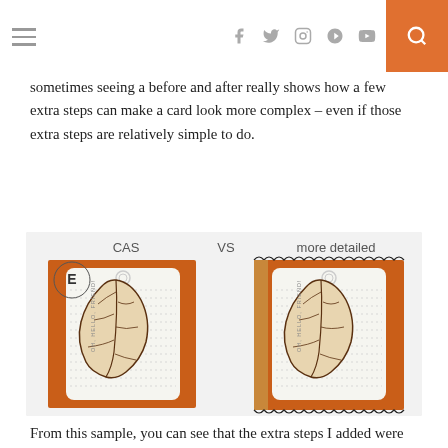≡  f  🐦  📷  𝐏  ▶  🔍
sometimes seeing a before and after really shows how a few extra steps can make a card look more complex – even if those extra steps are relatively simple to do.
[Figure (photo): Two handmade cards side by side. Left card labeled 'CAS', right card labeled 'VS more detailed'. Both feature orange card bases with white tag-shaped panels and an oak leaf die-cut. A circular 'E' brand stamp is in the upper left. The more detailed card on the right has additional decorative zigzag borders.]
From this sample, you can see that the extra steps I added were